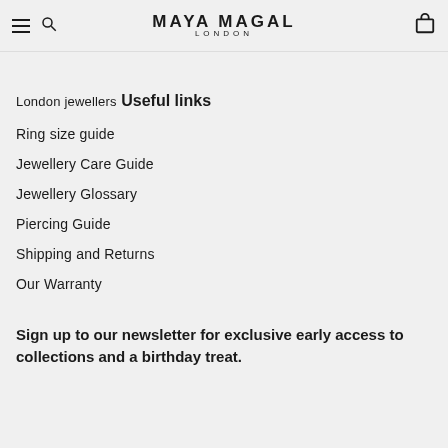MAYA MAGAL LONDON
London jewellers
Useful links
Ring size guide
Jewellery Care Guide
Jewellery Glossary
Piercing Guide
Shipping and Returns
Our Warranty
Sign up to our newsletter for exclusive early access to collections and a birthday treat.